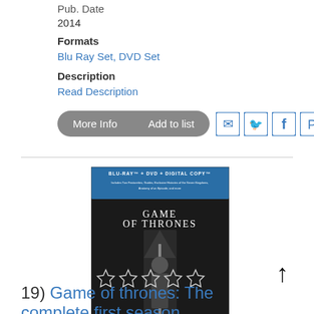Pub. Date
2014
Formats
Blu Ray Set, DVD Set
Description
Read Description
More Info | Add to list
[Figure (illustration): Game of Thrones: The Complete First Season Blu-ray/DVD cover showing a character on the Iron Throne, with BLU-RAY + DVD + DIGITAL COPY banner at top]
19) Game of thrones: The complete first season